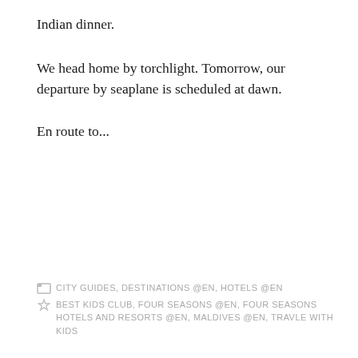Indian dinner.
We head home by torchlight. Tomorrow, our departure by seaplane is scheduled at dawn.
En route to...
CITY GUIDES, DESTINATIONS @EN, HOTELS @EN  BEST KIDS CLUB, FOUR SEASONS @EN, FOUR SEASONS HOTELS AND RESORTS @EN, MALDIVES @EN, TRAVLE WITH KIDS